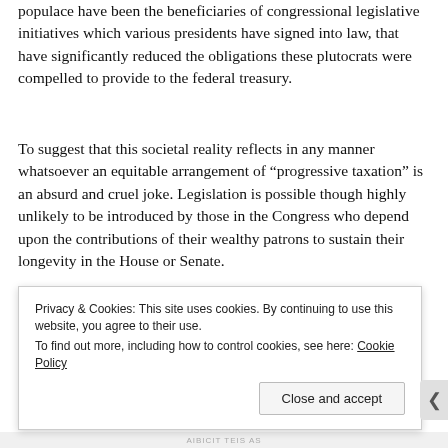populace have been the beneficiaries of congressional legislative initiatives which various presidents have signed into law, that have significantly reduced the obligations these plutocrats were compelled to provide to the federal treasury.
To suggest that this societal reality reflects in any manner whatsoever an equitable arrangement of "progressive taxation" is an absurd and cruel joke. Legislation is possible though highly unlikely to be introduced by those in the Congress who depend upon the contributions of their wealthy patrons to sustain their longevity in the House or Senate.
Moreover, though much of what reflects the domestic agenda of support for our nation's impoverished should be provided in t... a...
Privacy & Cookies: This site uses cookies. By continuing to use this website, you agree to their use.
To find out more, including how to control cookies, see here: Cookie Policy
Close and accept